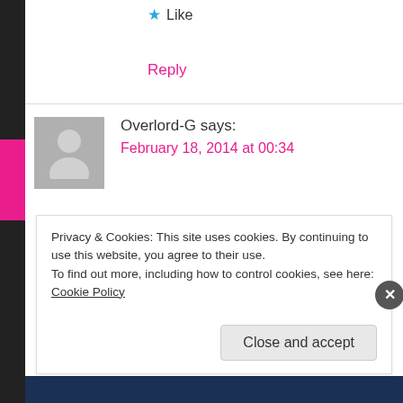★ Like
Reply
Overlord-G says:
February 18, 2014 at 00:34
I already saw RGZ Set 2 a week ago and hope Set 3 will be as yuririfc.
I guess Kon Kon and Engaged to the
Privacy & Cookies: This site uses cookies. By continuing to use this website, you agree to their use.
To find out more, including how to control cookies, see here: Cookie Policy
Close and accept